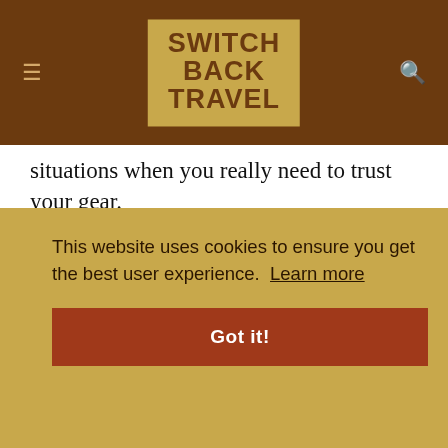SWITCH BACK TRAVEL
situations when you really need to trust your gear.
Why did we rank the Sabre AR above the Rush? The primary reason is the Sabre’s do-everything nature: its roomier fit is more accommodating for a range of midlayers, the aforementioned flannel backer gives it the clear edge in comfort (it’s less stiff and noisy than the
sh’s
d want
ead
This website uses cookies to ensure you get the best user experience. Learn more
Got it!